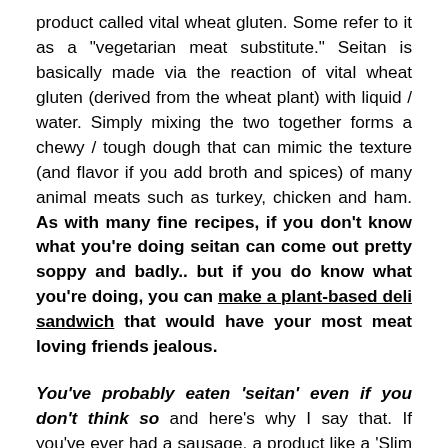product called vital wheat gluten. Some refer to it as a "vegetarian meat substitute." Seitan is basically made via the reaction of vital wheat gluten (derived from the wheat plant) with liquid / water. Simply mixing the two together forms a chewy / tough dough that can mimic the texture (and flavor if you add broth and spices) of many animal meats such as turkey, chicken and ham. As with many fine recipes, if you don't know what you're doing seitan can come out pretty soppy and badly.. but if you do know what you're doing, you can make a plant-based deli sandwich that would have your most meat loving friends jealous.
You've probably eaten 'seitan' even if you don't think so and here's why I say that. If you've ever had a sausage, a product like a 'Slim Jim', or even a burger or taco at a chain restaurant, chances are a portion of your meat patty was sometimes actually